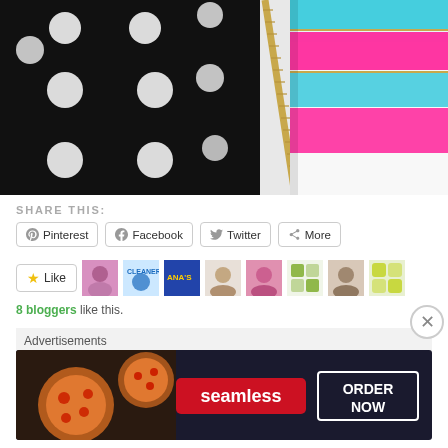[Figure (photo): Close-up photo of two zippered pouches/wallets - one black with white polka dots on the left, one with pink and aqua/teal horizontal stripes on the right, lying on a white surface]
SHARE THIS:
Pinterest  Facebook  Twitter  More
Like  [blogger avatars]  8 bloggers like this.
Advertisements
[Figure (screenshot): Seamless food delivery advertisement banner showing pizza slices on the left, a red Seamless logo in the center, and an 'ORDER NOW' button in a rectangular border on the right, on a dark background]